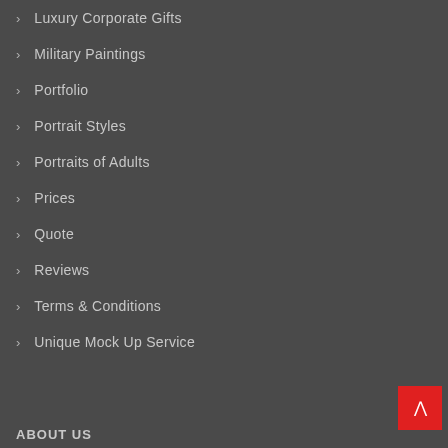Luxury Corporate Gifts
Military Paintings
Portfolio
Portrait Styles
Portraits of Adults
Prices
Quote
Reviews
Terms & Conditions
Unique Mock Up Service
ABOUT US